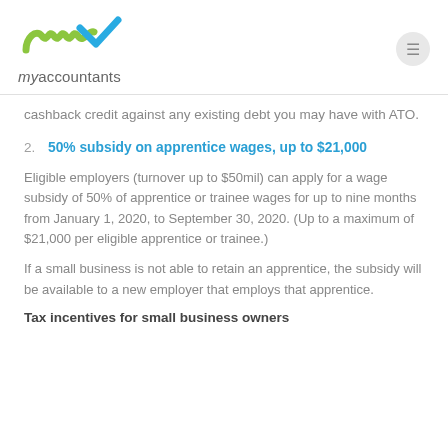[Figure (logo): myaccountants logo with green wave and blue checkmark, with text 'myaccountants' below]
cashback credit against any existing debt you may have with ATO.
2. 50% subsidy on apprentice wages, up to $21,000
Eligible employers (turnover up to $50mil) can apply for a wage subsidy of 50% of apprentice or trainee wages for up to nine months from January 1, 2020, to September 30, 2020. (Up to a maximum of $21,000 per eligible apprentice or trainee.)
If a small business is not able to retain an apprentice, the subsidy will be available to a new employer that employs that apprentice.
Tax incentives for small business owners